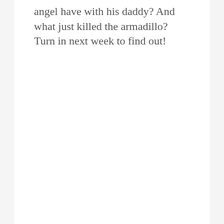angel have with his daddy? And what just killed the armadillo? Turn in next week to find out!